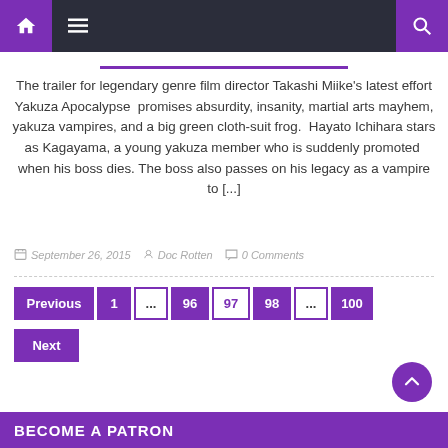Navigation bar with home icon, menu icon, and search icon
The trailer for legendary genre film director Takashi Miike's latest effort Yakuza Apocalypse  promises absurdity, insanity, martial arts mayhem, yakuza vampires, and a big green cloth-suit frog.  Hayato Ichihara stars as Kagayama, a young yakuza member who is suddenly promoted  when his boss dies. The boss also passes on his legacy as a vampire to [...]
September 26, 2015   Doc Rotten   0 Comments
Previous  1  ...  96  97  98  ...  100  Next
BECOME A PATRON